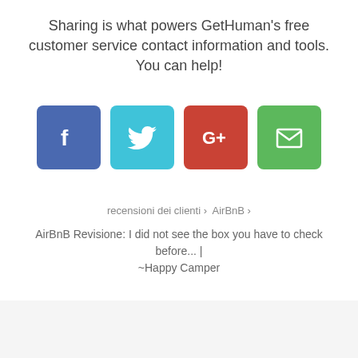Sharing is what powers GetHuman's free customer service contact information and tools. You can help!
[Figure (infographic): Four social sharing buttons: Facebook (blue), Twitter (cyan), Google+ (red), Email (green), each as colored square icons with white symbols]
recensioni dei clienti › AirBnB ›
AirBnB Revisione: I did not see the box you have to check before... | ~Happy Camper